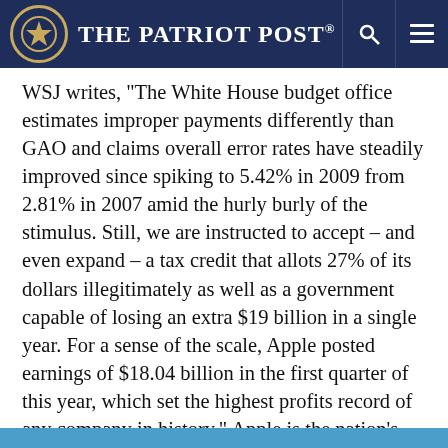The Patriot Post
WSJ writes, "The White House budget office estimates improper payments differently than GAO and claims overall error rates have steadily improved since spiking to 5.42% in 2009 from 2.81% in 2007 amid the hurly burly of the stimulus. Still, we are instructed to accept – and even expand – a tax credit that allots 27% of its dollars illegitimately as well as a government capable of losing an extra $19 billion in a single year. For a sense of the scale, Apple posted earnings of $18.04 billion in the first quarter of this year, which set the highest profits record of any company in history." Apple is the nation’s largest company. It just demonstrates the breathtakingly bad management that comes with large government.
More…